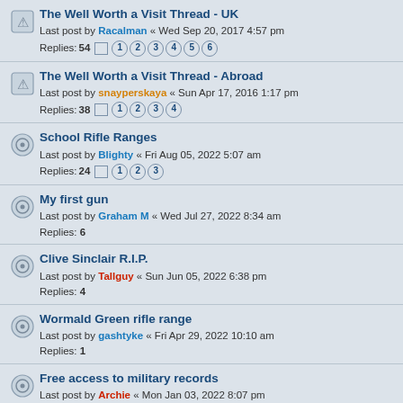The Well Worth a Visit Thread - UK
Last post by Racalman « Wed Sep 20, 2017 4:57 pm
Replies: 54  1 2 3 4 5 6
The Well Worth a Visit Thread - Abroad
Last post by snayperskaya « Sun Apr 17, 2016 1:17 pm
Replies: 38  1 2 3 4
School Rifle Ranges
Last post by Blighty « Fri Aug 05, 2022 5:07 am
Replies: 24  1 2 3
My first gun
Last post by Graham M « Wed Jul 27, 2022 8:34 am
Replies: 6
Clive Sinclair R.I.P.
Last post by Tallguy « Sun Jun 05, 2022 6:38 pm
Replies: 4
Wormald Green rifle range
Last post by gashtyke « Fri Apr 29, 2022 10:10 am
Replies: 1
Free access to military records
Last post by Archie « Mon Jan 03, 2022 8:07 pm
Replies: 9
New SAS Drama
Last post by daman « Sun Oct 31, 2021 10:17 pm
Replies: 2
For what?
Last post by Chuck « Wed Jul 28, 2021 12:24 pm
Replies: 16  1 2